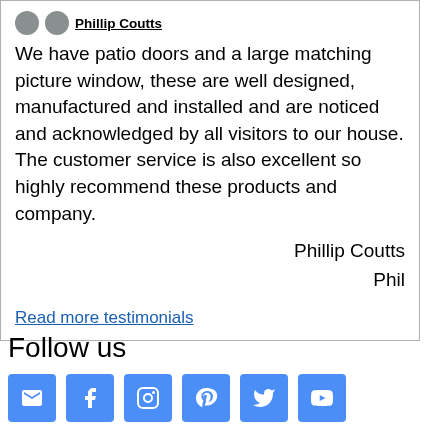We have patio doors and a large matching picture window, these are well designed, manufactured and installed and are noticed and acknowledged by all visitors to our house. The customer service is also excellent so highly recommend these products and company.
Phillip Coutts
Phil
Read more testimonials
Follow us
[Figure (infographic): Row of six social media icon buttons (email, Facebook, Instagram, Pinterest, Twitter, YouTube) in blue rounded squares]